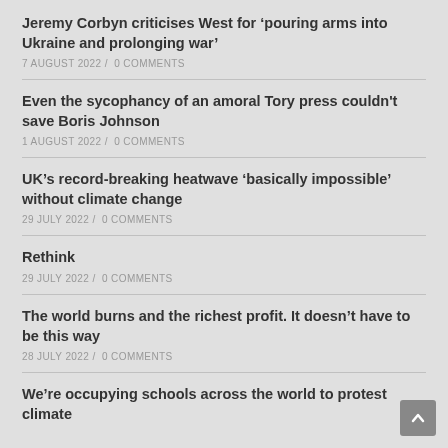Jeremy Corbyn criticises West for ‘pouring arms into Ukraine and prolonging war’
7 AUGUST 2022 /  0 COMMENTS
Even the sycophancy of an amoral Tory press couldn't save Boris Johnson
1 AUGUST 2022 /  0 COMMENTS
UK’s record-breaking heatwave ‘basically impossible’ without climate change
29 JULY 2022 /  0 COMMENTS
Rethink
29 JULY 2022 /  0 COMMENTS
The world burns and the richest profit. It doesn’t have to be this way
28 JULY 2022 /  0 COMMENTS
We’re occupying schools across the world to protest climate